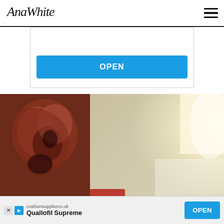AnaWhite — navigation bar with hamburger menu
[Figure (screenshot): Advertisement box with blue OPEN button, partial view at top of page, domain cushionssupplierco.uk]
[Figure (photo): Interior room photo showing a dark red abstract painting on a white wall on the left, and a bright glowing light source on the right side of the room, with a hint of red object at bottom]
cushionssupplierco.uk
Quallofil Supreme
OPEN